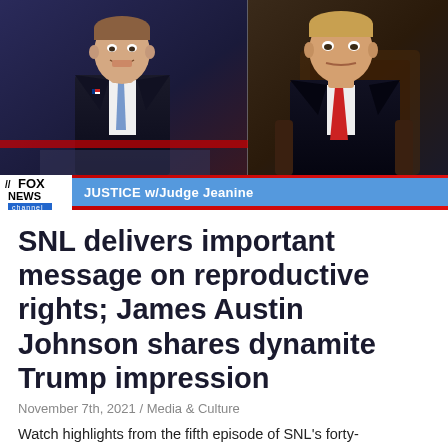[Figure (screenshot): Split screenshot of an SNL sketch parodying Fox News 'Justice with Judge Jeanine'. Left panel shows a man in a dark suit with a blue tie on a Fox News set background. Right panel shows a man in a dark suit with a red tie (Trump impression) seated in a chair. Fox News ticker bar at the bottom reads 'JUSTICE w/Judge Jeanine'.]
SNL delivers important message on reproductive rights; James Austin Johnson shares dynamite Trump impression
November 7th, 2021 / Media & Culture
Watch highlights from the fifth episode of SNL's forty-